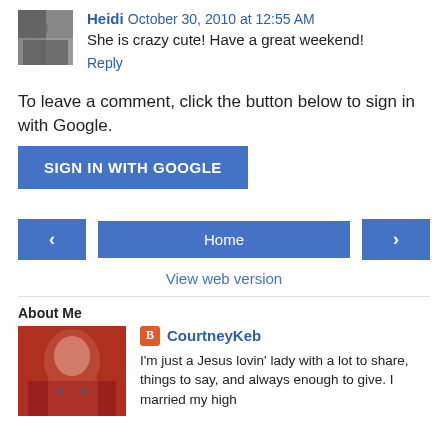Heidi  October 30, 2010 at 12:55 AM
She is crazy cute! Have a great weekend!
Reply
To leave a comment, click the button below to sign in with Google.
[Figure (other): SIGN IN WITH GOOGLE button]
[Figure (other): Navigation bar with left arrow, Home button, and right arrow]
View web version
About Me
CourtneyKeb
I'm just a Jesus lovin' lady with a lot to share, things to say, and always enough to give. I married my high